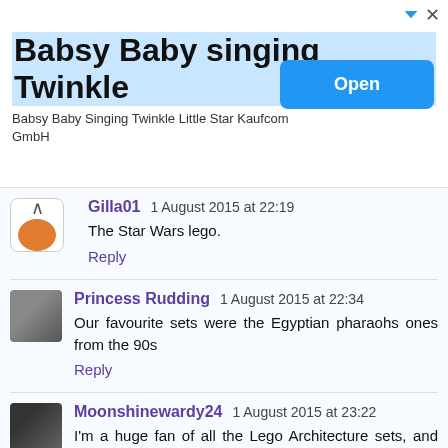[Figure (infographic): Advertisement banner: 'Babsy Baby singing Twinkle' with Open button]
Gilla01  1 August 2015 at 22:19
The Star Wars lego.
Reply
Princess Rudding  1 August 2015 at 22:34
Our favourite sets were the Egyptian pharaohs ones from the 90s
Reply
Moonshinewardy24  1 August 2015 at 23:22
I'm a huge fan of all the Lego Architecture sets, and I'm particularly fond of my White House one.
Reply